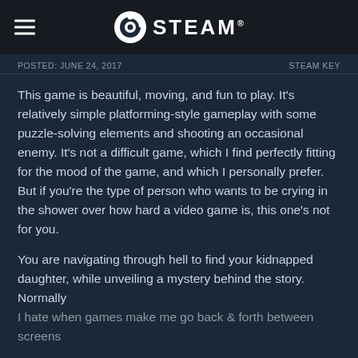STEAM
POSTED: JUNE 24, 2017    STEAM KEY
This game is beautiful, moving, and fun to play. It's relatively simple platforming-style gameplay with some puzzle-solving elements and shooting an occasional enemy. It's not a difficult game, which I find perfectly fitting for the mood of the game, and which I personally prefer. But if you're the type of person who wants to be crying in the shower over how hard a video game is, this one's not for you.

You are navigating through hell to find your kidnapped daughter, while unveiling a mystery behind the story. Normally I hate when games make me go back & forth between screens
READ MORE
Was this review helpful?
Yes  No  Funny  Award
119 people found this review helpful
1 person found this review funny